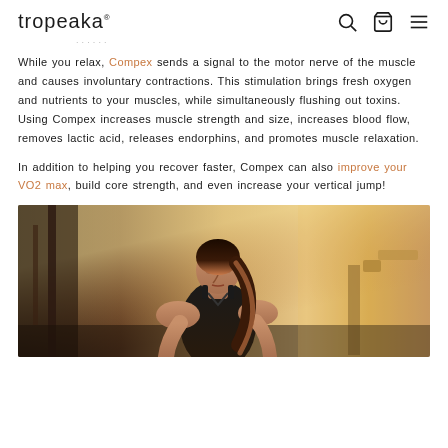tropeaka®
While you relax, Compex sends a signal to the motor nerve of the muscle and causes involuntary contractions. This stimulation brings fresh oxygen and nutrients to your muscles, while simultaneously flushing out toxins. Using Compex increases muscle strength and size, increases blood flow, removes lactic acid, releases endorphins, and promotes muscle relaxation.
In addition to helping you recover faster, Compex can also improve your VO2 max, build core strength, and even increase your vertical jump!
[Figure (photo): Woman leaning forward in a gym setting, wearing a dark tank top, with gym equipment visible in the background and warm sunlight]